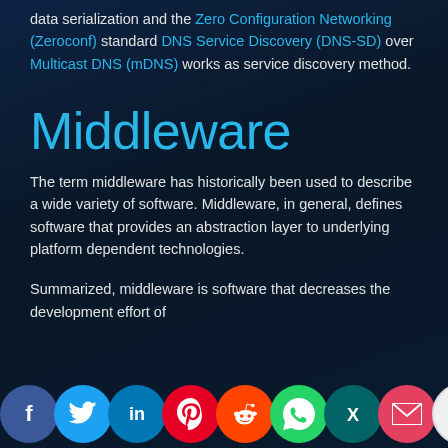data serialization and the Zero Configuration Networking (Zeroconf) standard DNS Service Discovery (DNS-SD) over Multicast DNS (mDNS) works as service discovery method.
Middleware
The term middleware has historically been used to describe a wide variety of software. Middleware, in general, defines software that provides an abstraction layer to underlying platform dependent technologies.
Summarized, middleware is software that decreases the development effort of...